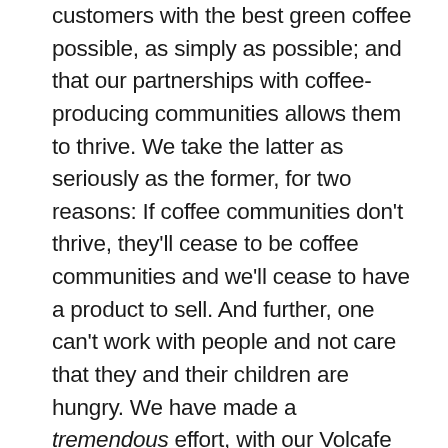customers with the best green coffee possible, as simply as possible; and that our partnerships with coffee-producing communities allows them to thrive. We take the latter as seriously as the former, for two reasons: If coffee communities don't thrive, they'll cease to be coffee communities and we'll cease to have a product to sell. And further, one can't work with people and not care that they and their children are hungry. We have made a tremendous effort, with our Volcafe Way program, to give producers the assistance they need — whether agricultural training and guidance or small business training and guidance. We're continuously investing in our supply chain so our partners can create not just environmentally sustainable farms but businesses that are financially sound and profitable, year after